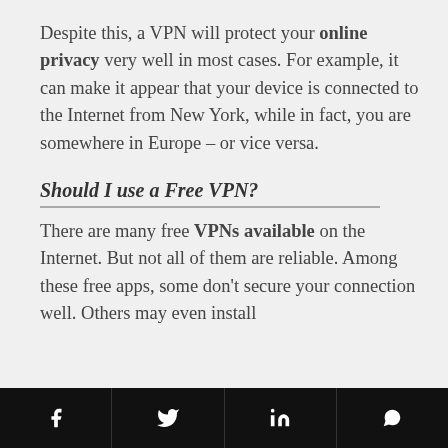Despite this, a VPN will protect your online privacy very well in most cases. For example, it can make it appear that your device is connected to the Internet from New York, while in fact, you are somewhere in Europe – or vice versa.
Should I use a Free VPN?
There are many free VPNs available on the Internet. But not all of them are reliable. Among these free apps, some don't secure your connection well. Others may even install
Social share bar: Facebook, Twitter, LinkedIn, WhatsApp